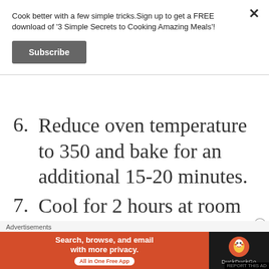Cook better with a few simple tricks.Sign up to get a FREE download of '3 Simple Secrets to Cooking Amazing Meals'!
Subscribe
6. Reduce oven temperature to 350 and bake for an additional 15-20 minutes.
7. Cool for 2 hours at room temperature before serving.
Advertisements
[Figure (infographic): DuckDuckGo advertisement banner: 'Search, browse, and email with more privacy. All in One Free App' with DuckDuckGo logo on dark background]